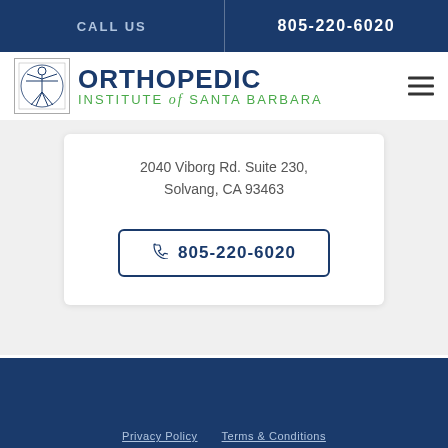CALL US | 805-220-6020
[Figure (logo): Orthopedic Institute of Santa Barbara logo with Vitruvian man icon]
2040 Viborg Rd. Suite 230, Solvang, CA 93463
805-220-6020
Privacy Policy   Terms & Conditions